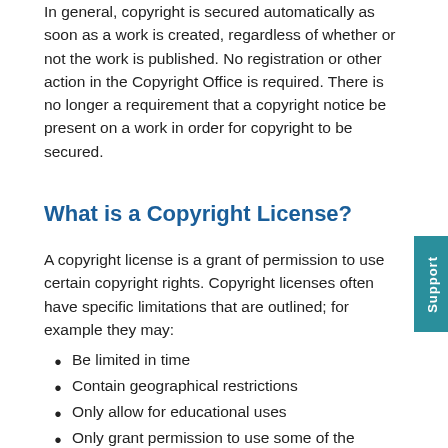In general, copyright is secured automatically as soon as a work is created, regardless of whether or not the work is published. No registration or other action in the Copyright Office is required. There is no longer a requirement that a copyright notice be present on a work in order for copyright to be secured.
What is a Copyright License?
A copyright license is a grant of permission to use certain copyright rights. Copyright licenses often have specific limitations that are outlined; for example they may:
Be limited in time
Contain geographical restrictions
Only allow for educational uses
Only grant permission to use some of the copyright rights (for example, a license may grant permission to download and distribute a work, but not the right to create derivative works)